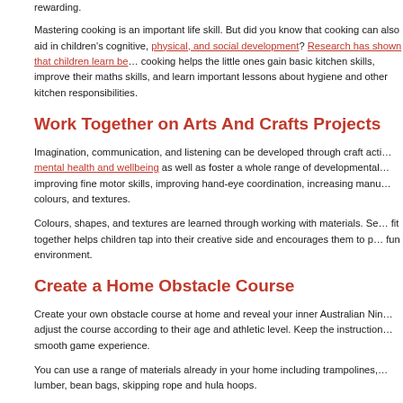rewarding.
Mastering cooking is an important life skill. But did you know that cooking can also aid in children's cognitive, physical, and social development? Research has shown that children learn best by doing, which is why cooking helps the little ones gain basic kitchen skills, improve their maths skills, and learn important lessons about hygiene and other kitchen responsibilities.
Work Together on Arts And Crafts Projects
Imagination, communication, and listening can be developed through craft activities. Arts and crafts promote mental health and wellbeing as well as foster a whole range of developmental benefits for children, including improving fine motor skills, improving hand-eye coordination, increasing manual dexterity, exploring different colours, and textures.
Colours, shapes, and textures are learned through working with materials. Seeing how different materials fit together helps children tap into their creative side and encourages them to problem solve in a safe and fun environment.
Create a Home Obstacle Course
Create your own obstacle course at home and reveal your inner Australian Ninja Warrior. You can easily adjust the course according to their age and athletic level. Keep the instructions simple to ensure a smooth game experience.
You can use a range of materials already in your home including trampolines, mattresses, timber lumber, bean bags, skipping rope and hula hoops.
Discover Local Waterholes and Hiking Trails